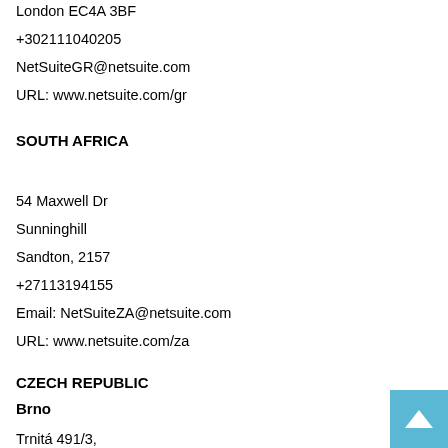London EC4A 3BF
+302111040205
NetSuiteGR@netsuite.com
URL: www.netsuite.com/gr
SOUTH AFRICA
54 Maxwell Dr
Sunninghill
Sandton, 2157
+27113194155
Email: NetSuiteZA@netsuite.com
URL: www.netsuite.com/za
CZECH REPUBLIC
Brno
Trnitá 491/3,